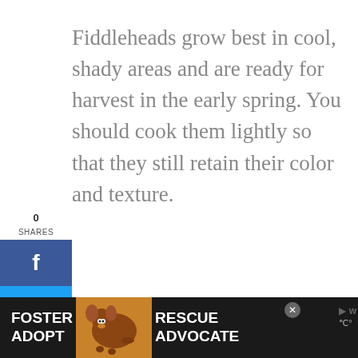Fiddleheads grow best in cool, shady areas and are ready for harvest in the early spring. You should cook them lightly so that they still retain their color and texture.
[Figure (infographic): Social sharing sidebar with share count (0 SHARES) and three buttons: Facebook (f), Twitter (bird), Pinterest (p)]
ARROWHEAD
Native to North America, the arrowhead plant looks like long grass above ground but...
[Figure (infographic): Floating action buttons on right: teal heart button with count 1, and share button]
[Figure (photo): Advertisement banner at bottom: FOSTER ADOPT with dog photo and RESCUE ADVOCATE text on dark background]